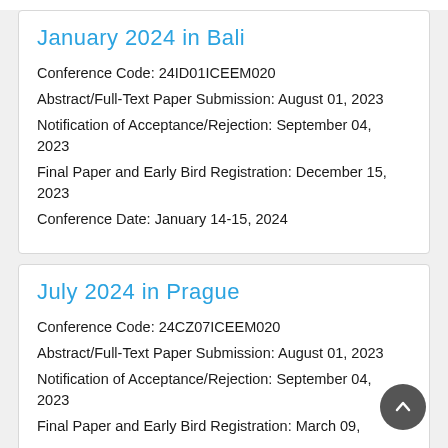January 2024 in Bali
Conference Code: 24ID01ICEEM020
Abstract/Full-Text Paper Submission: August 01, 2023
Notification of Acceptance/Rejection: September 04, 2023
Final Paper and Early Bird Registration: December 15, 2023
Conference Date: January 14-15, 2024
July 2024 in Prague
Conference Code: 24CZ07ICEEM020
Abstract/Full-Text Paper Submission: August 01, 2023
Notification of Acceptance/Rejection: September 04, 2023
Final Paper and Early Bird Registration: March 09,